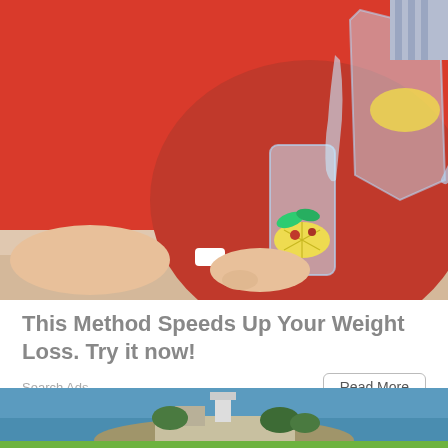[Figure (photo): Woman in red sweater pouring lemon water from a glass pitcher into a glass with lemon and mint]
This Method Speeds Up Your Weight Loss. Try it now!
Search Ads
Read More
[Figure (photo): Aerial view of Alcatraz island surrounded by blue water]